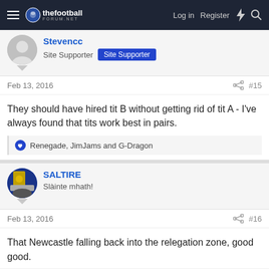thefootballforum.net — Log in  Register
Stevencc
Site Supporter  Site Supporter
Feb 13, 2016  #15
They should have hired tit B without getting rid of tit A - I've always found that tits work best in pairs.
Renegade, JimJams and G-Dragon
SALTIRE
Slainte mhath!
Feb 13, 2016  #16
That Newcastle falling back into the relegation zone, good good.